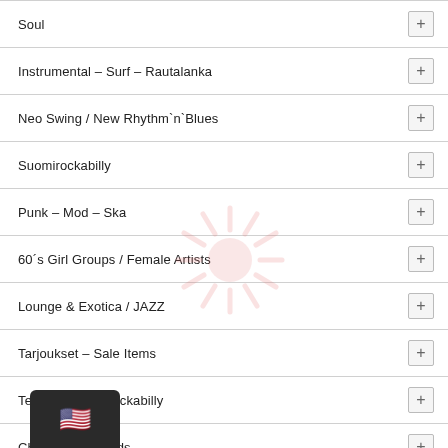Soul
Instrumental – Surf – Rautalanka
Neo Swing / New Rhythm`n`Blues
Suomirockabilly
Punk – Mod – Ska
60´s Girl Groups / Female Artists
Lounge & Exotica / JAZZ
Tarjoukset – Sale Items
Ted & Revival Rockabilly
Christmas Records
Swing
Hot Rod – Bikers – Cool Stuff
CD...